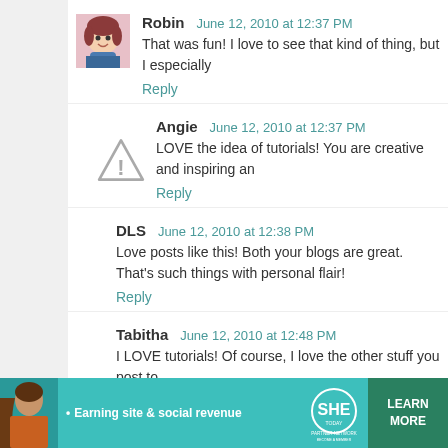Robin  June 12, 2010 at 12:37 PM
That was fun! I love to see that kind of thing, but I especially
Reply
Angie  June 12, 2010 at 12:37 PM
LOVE the idea of tutorials! You are creative and inspiring an
Reply
DLS  June 12, 2010 at 12:38 PM
Love posts like this! Both your blogs are great. That's such things with personal flair!
Reply
Tabitha  June 12, 2010 at 12:48 PM
I LOVE tutorials! Of course, I love the other stuff you post to
Reply
[Figure (infographic): SHE Partner Network advertisement banner: Earning site & social revenue. Learn More. Become a Member.]